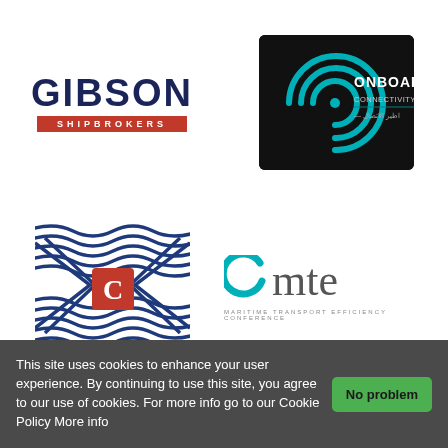[Figure (logo): Gibson Shipbrokers logo — bold navy text 'GIBSON' with red banner 'SHIPBROKERS' below]
[Figure (logo): Onboard Connectivity Summit logo — circular wave graphic on black background with white text]
[Figure (logo): Clarkson 'C' logo — navy blue wavy flag pattern with red 'C' shield in center]
[Figure (logo): OMTE Maritime Transport Efficiency Conference logo — teal O and grey 'mte' text]
[Figure (logo): Malta Maritime Summit logo — dark navy box with ship wheel icon, text 'MALTA MARITIME SUMMIT The Voice of the Industry 3–7 OCTOBER 2022']
NEWSLETTER
This site uses cookies to enhance your user experience. By continuing to use this site, you agree to our use of cookies. For more info go to our Cookie Policy More info